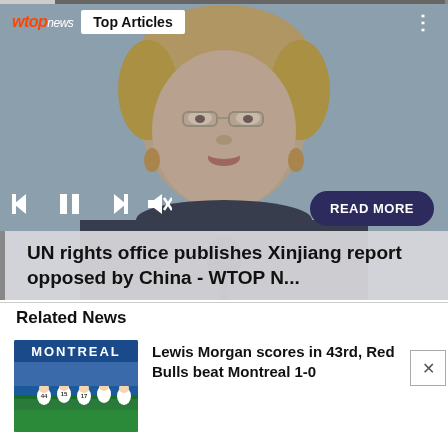[Figure (screenshot): WTOP News app screenshot showing a video player with a woman speaking at a podium. Controls include skip back, pause, skip forward, mute. A 'READ MORE' button is visible. Article title overlay reads 'UN rights office publishes Xinjiang report opposed by China - WTOP N...']
UN rights office publishes Xinjiang report opposed by China - WTOP N...
Related News
[Figure (photo): Soccer players in white uniforms celebrating on field with MONTREAL text visible in background]
Lewis Morgan scores in 43rd, Red Bulls beat Montreal 1-0